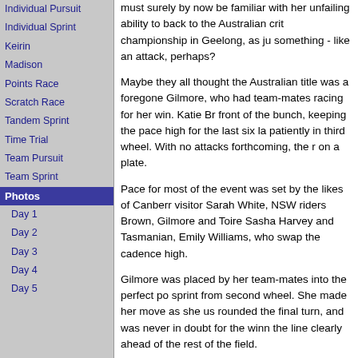Individual Pursuit
Individual Sprint
Keirin
Madison
Points Race
Scratch Race
Tandem Sprint
Time Trial
Team Pursuit
Team Sprint
Photos
Day 1
Day 2
Day 3
Day 4
Day 5
must surely by now be familiar with her unfailing ability to back to the Australian crit championship in Geelong, as ju something - like an attack, perhaps?
Maybe they all thought the Australian title was a foregone Gilmore, who had team-mates racing for her win. Katie Br front of the bunch, keeping the pace high for the last six la patiently in third wheel. With no attacks forthcoming, the r on a plate.
Pace for most of the event was set by the likes of Canberr visitor Sarah White, NSW riders Brown, Gilmore and Toire Sasha Harvey and Tasmanian, Emily Williams, who swap the cadence high.
Gilmore was placed by her team-mates into the perfect po sprint from second wheel. She made her move as she us rounded the final turn, and was never in doubt for the winn the line clearly ahead of the rest of the field.
The real interest for the evening was second-place, with t riders, Kerry Cohen and Leeanne Manderson crossing in awarded second place. It appeared the WA riders had de safer bet than actually challenging Gilmorefor the gold.
Gilmore joins previous 10k scratch race winners Sandra S Lyndelle Higginson and Kerrie Meares.
Photography courtesy Tom Balks
Dead heat - as close at it gets in the Women's 10km S
Rochelle Gilmore - cruises across the line to win the W
Sitting in - Gilmore in the field during the 10km Scratch